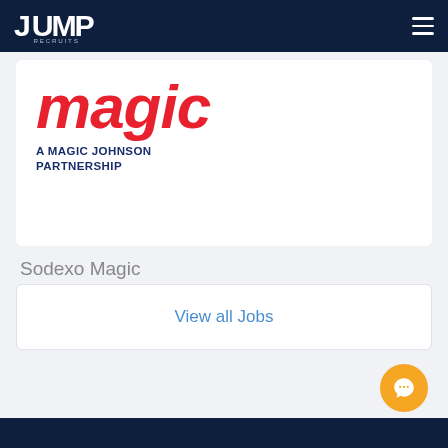JUMP RECRUITS
[Figure (logo): Sodexo Magic logo — stylized italic 'magic' in red with 'A MAGIC JOHNSON PARTNERSHIP' in dark navy below]
Sodexo Magic
View all Jobs